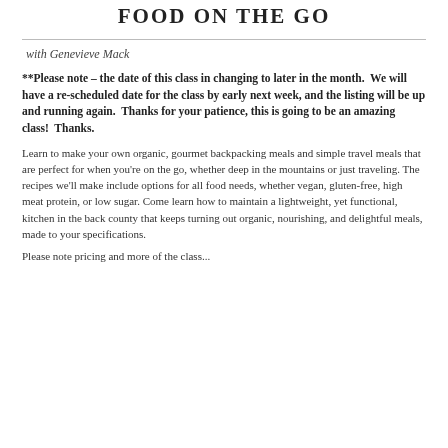FOOD ON THE GO
with Genevieve Mack
**Please note – the date of this class in changing to later in the month.  We will have a re-scheduled date for the class by early next week, and the listing will be up and running again.  Thanks for your patience, this is going to be an amazing class!  Thanks.
Learn to make your own organic, gourmet backpacking meals and simple travel meals that are perfect for when you're on the go, whether deep in the mountains or just traveling. The recipes we'll make include options for all food needs, whether vegan, gluten-free, high meat protein, or low sugar. Come learn how to maintain a lightweight, yet functional, kitchen in the back county that keeps turning out organic, nourishing, and delightful meals, made to your specifications.
Please note pricing and more of the class...